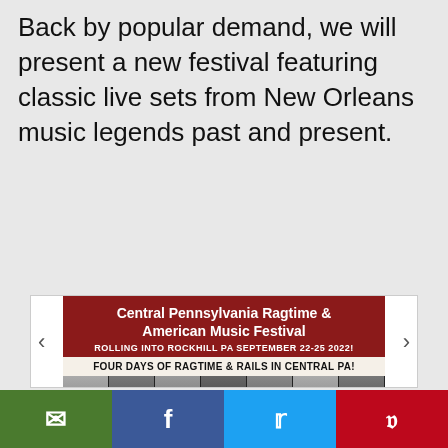Back by popular demand, we will present a new festival featuring classic live sets from New Orleans music legends past and present.
[Figure (illustration): Central Pennsylvania Ragtime & American Music Festival flyer. Dark red header with white text. Subtitle: ROLLING INTO ROCKHILL PA SEPTEMBER 22-25 2022! Tagline: FOUR DAYS OF RAGTIME & RAILS IN CENTRAL PA! Strip of performer photos. Yellow section listing: Concerts of Ragtime, Jazz, Boogie Woogie, Stride, and the Great American Songbook; Lectures on Historic American Music; Friday Night Jazz Social with Food Trucks and Dancing; Train & Trolley Rides with the East Broad Top Railroad & Rockhill Trolley Museum; Broad Top Ball Dinner Train, Dance Floor At Most Events; AND MORE! Contact: rockhillragtime@gmail.com / (443) 694-4116, www.rockhillragtime.com / www.eastbroadtop.com. Bottom strip of three photos.]
Email | Facebook | Twitter | Pinterest social share bar